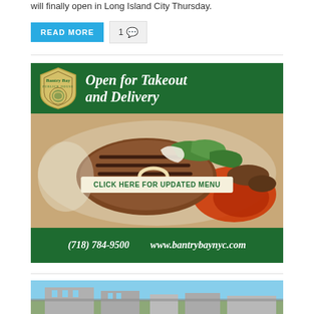will finally open in Long Island City Thursday.
READ MORE  1 💬
[Figure (photo): Bantry Bay Publick House advertisement showing grilled food dish with vegetables and red sauce. Text reads: 'Open for Takeout and Delivery', 'CLICK HERE FOR UPDATED MENU', '(718) 784-9500  www.bantrybaynyc.com']
[Figure (photo): Partial image of a building exterior visible at the bottom of the page.]